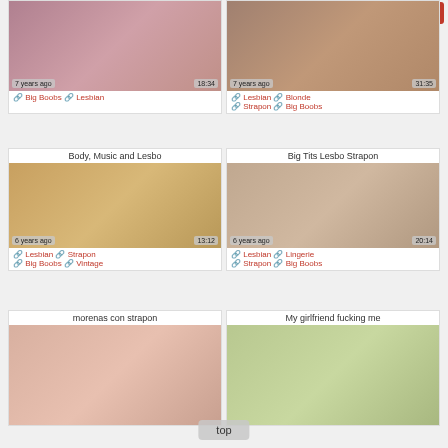[Figure (screenshot): Video thumbnail grid showing adult video website with pagination and video cards]
7 years ago | 18:34 | Big Boobs | Lesbian
7 years ago | 31:35 | Lesbian | Blonde | Strapon | Big Boobs
Body, Music and Lesbo | 6 years ago | 13:12 | Lesbian | Strapon | Big Boobs | Vintage
Big Tits Lesbo Strapon | 6 years ago | 20:14 | Lesbian | Lingerie | Strapon | Big Boobs
morenas con strapon
My girlfriend fucking me